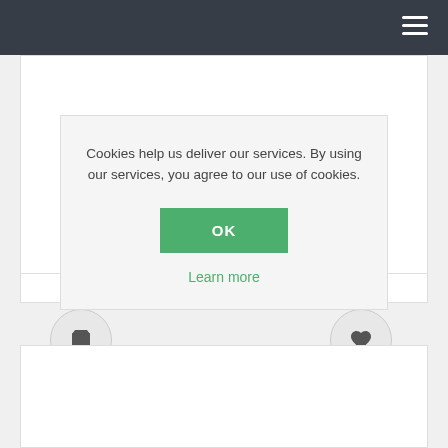Navigation bar with hamburger menu
Cookies help us deliver our services. By using our services, you agree to our use of cookies.
OK
Learn more
€0.36